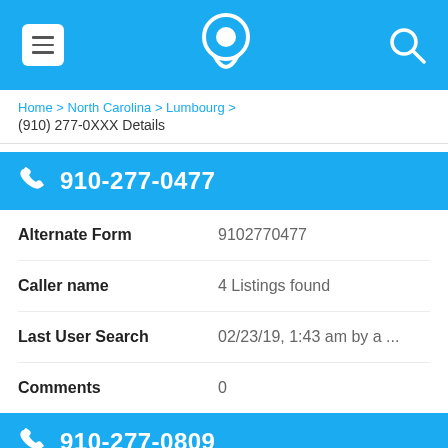[Figure (screenshot): Top navigation bar with menu icon (hamburger), phone location logo, and search icon on blue background]
Home > North Carolina > Lumbourg > (910) 277-0XXX Details
910-277-0477
| Field | Value |
| --- | --- |
| Alternate Form | 9102770477 |
| Caller name | 4 Listings found |
| Last User Search | 02/23/19, 1:43 am by a ... |
| Comments | 0 |
910-277-0809
Alternate Form